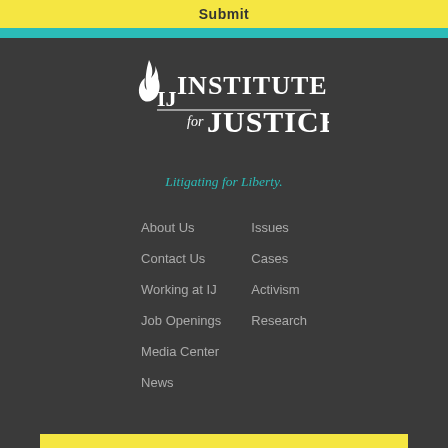Submit
[Figure (logo): Institute for Justice logo with flame icon and text 'IJ Institute for Justice']
Litigating for Liberty.
About Us
Issues
Contact Us
Cases
Working at IJ
Activism
Job Openings
Research
Media Center
News